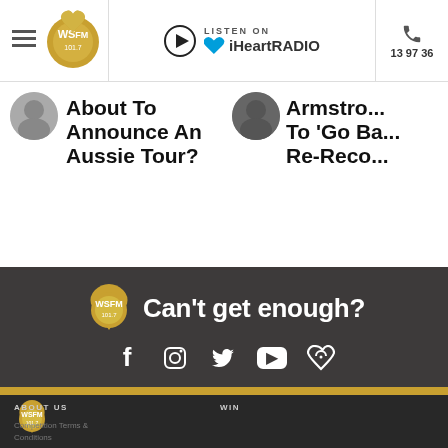WSFM 101.7 | LISTEN ON iHeartRADIO | 13 97 36
About To Announce An Aussie Tour?
Armstro... To 'Go Ba... Re-Reco...
[Figure (screenshot): Can't get enough? section with WSFM logo and social media icons (Facebook, Instagram, Twitter, YouTube, iHeartRadio)]
ABOUT US | WIN | Competition Terms & Conditions
[Figure (screenshot): iHeartRADIO advertisement banner - GET THE FREE APP]